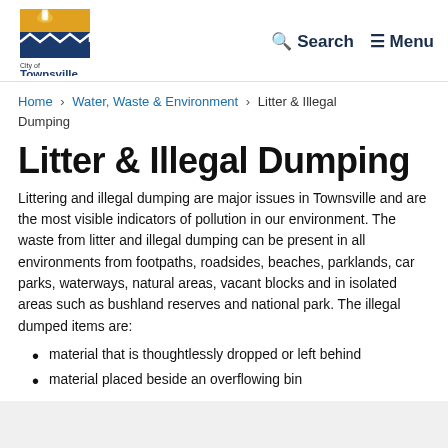[Figure (logo): City of Townsville logo with gold/blue building silhouette and palm tree]
Q Search  ≡ Menu
Home > Water, Waste & Environment > Litter & Illegal Dumping
Litter & Illegal Dumping
Littering and illegal dumping are major issues in Townsville and are the most visible indicators of pollution in our environment. The waste from litter and illegal dumping can be present in all environments from footpaths, roadsides, beaches, parklands, car parks, waterways, natural areas, vacant blocks and in isolated areas such as bushland reserves and national park. The illegal dumped items are:
material that is thoughtlessly dropped or left behind
material placed beside an overflowing bin